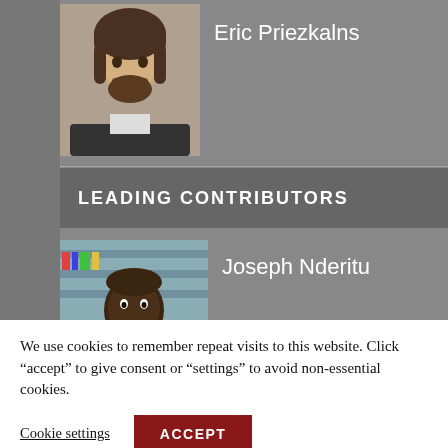[Figure (photo): Headshot of Eric Priezkalns, man with long dark hair and beard, wearing a dark jacket]
Eric Priezkalns
LEADING CONTRIBUTORS
[Figure (photo): Headshot of Joseph Nderitu, man in front of bookshelves]
Joseph Nderitu
[Figure (photo): Headshot of Michael Lazarou, man in dark shirt]
Michael Lazarou
We use cookies to remember repeat visits to this website. Click “accept” to give consent or “settings” to avoid non-essential cookies.
Cookie settings
ACCEPT